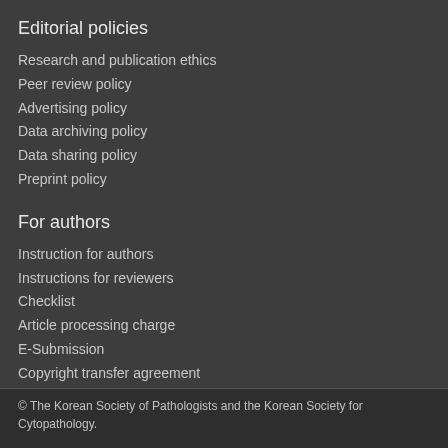Editorial policies
Research and publication ethics
Peer review policy
Advertising policy
Data archiving policy
Data sharing policy
Preprint policy
For authors
Instruction for authors
Instructions for reviewers
Checklist
Article processing charge
E-Submission
Copyright transfer agreement
Conflict of interest form
© The Korean Society of Pathologists and the Korean Society for Cytopathology.